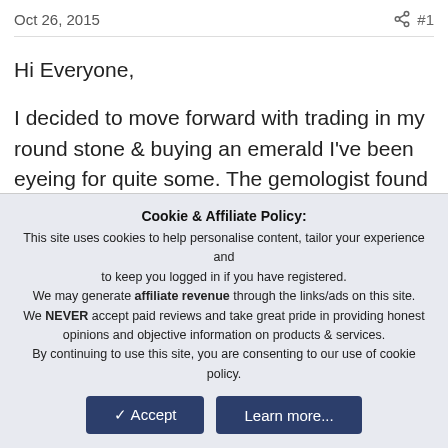Oct 26, 2015   #1
Hi Everyone,

I decided to move forward with trading in my round stone & buying an emerald I've been eyeing for quite some. The gemologist found a chip at the edge of the table, "on the crown" as they specified exactly. The red arrow in the picture is the location of the chip. I was pretty unhappy to find this out since the stone had been part of a 3 stone bezel pendant. 😑
Cookie & Affiliate Policy:
This site uses cookies to help personalise content, tailor your experience and to keep you logged in if you have registered.
We may generate affiliate revenue through the links/ads on this site.
We NEVER accept paid reviews and take great pride in providing honest opinions and objective information on products & services.
By continuing to use this site, you are consenting to our use of cookie policy.